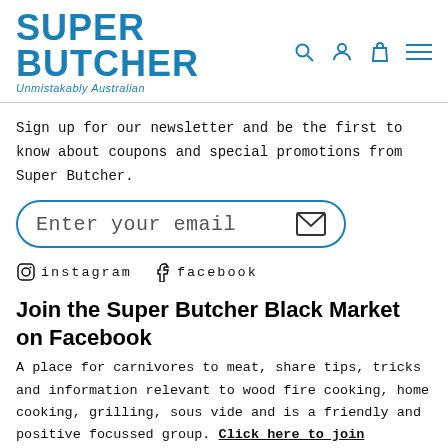SUPER BUTCHER — Unmistakably Australian
Sign up for our newsletter and be the first to know about coupons and special promotions from Super Butcher.
[Figure (other): Email input field with rounded border and envelope icon, placeholder text 'Enter your email']
instagram   facebook
Join the Super Butcher Black Market on Facebook
A place for carnivores to meat, share tips, tricks and information relevant to wood fire cooking, home cooking, grilling, sous vide and is a friendly and positive focussed group. Click here to join